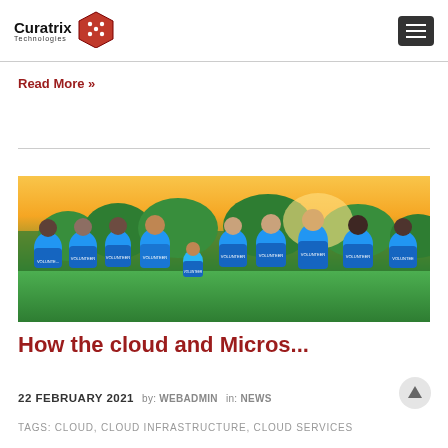Curatrix Technologies
Read More »
[Figure (photo): Group of people wearing blue volunteer t-shirts smiling outdoors at sunset]
How the cloud and Micros...
22 FEBRUARY 2021  by: WEBADMIN  in: NEWS
Tags: CLOUD, CLOUD INFRASTRUCTURE, CLOUD SERVICES